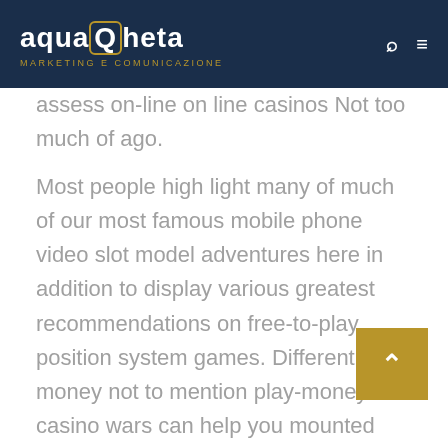aquaCheta MARKETING E COMUNICAZIONE
assess on-line on line casinos Not too much of ago.
Most people high light many of much of our most famous mobile phone video slot model adventures here in addition to display various greatest recommendations on free-to-play position system games. Different re money not to mention play-money casino wars can help you mounted decrease